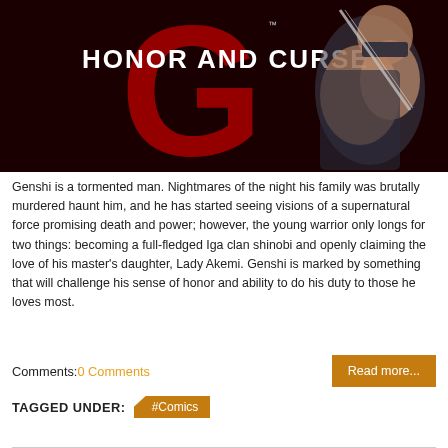[Figure (illustration): Comic book cover art for 'Honor and Curse' showing a muscular ninja warrior in dark costume with sword, against a deep red background. White text reads 'HONOR AND CURSE' with a large stylized red numeral/letter G behind it.]
Genshi is a tormented man. Nightmares of the night his family was brutally murdered haunt him, and he has started seeing visions of a supernatural force promising death and power; however, the young warrior only longs for two things: becoming a full-fledged Iga clan shinobi and openly claiming the love of his master's daughter, Lady Akemi. Genshi is marked by something that will challenge his sense of honor and ability to do his duty to those he loves most.
Comments:0 Comments
Read more...
TAGGED UNDER: #Comics